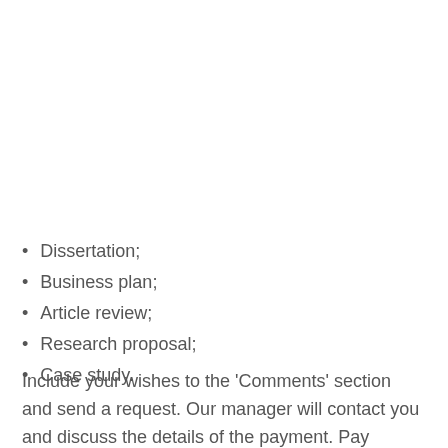Dissertation;
Business plan;
Article review;
Research proposal;
Case study.
Include your wishes to the ‘Comments’ section and send a request. Our manager will contact you and discuss the details of the payment. Pay attention that we start